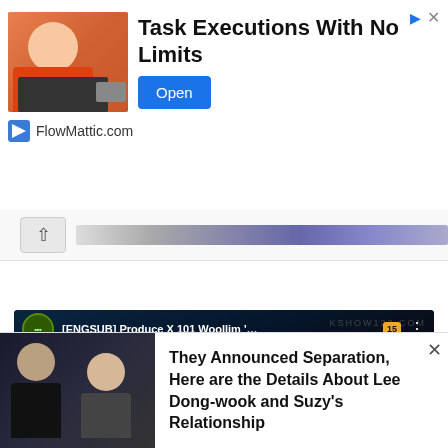[Figure (screenshot): Advertisement banner: woman at laptop in orange shirt, text 'Task Executions With No Limits', Open button, FlowMattic.com logo]
[Figure (screenshot): YouTube video embed: [ENGSUB] Produce X 101 Woollim '...' with Korean subtitle 'Was it your first time?' and red play button overlay]
[Figure (screenshot): Bottom ad: photo of two people (man and woman), text 'They Announced Separation, Here are the Details About Lee Dong-wook and Suzy's Relationship']